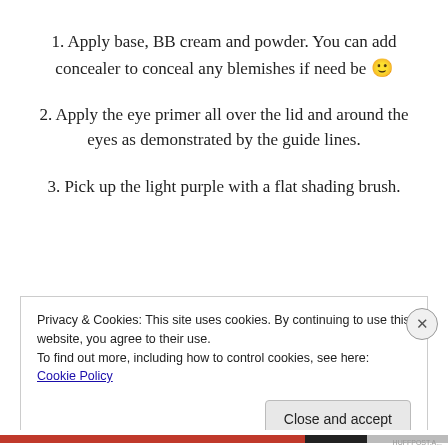1. Apply base, BB cream and powder. You can add concealer to conceal any blemishes if need be 🙂
2. Apply the eye primer all over the lid and around the eyes as demonstrated by the guide lines.
3. Pick up the light purple with a flat shading brush.
Privacy & Cookies: This site uses cookies. By continuing to use this website, you agree to their use.
To find out more, including how to control cookies, see here: Cookie Policy
Close and accept